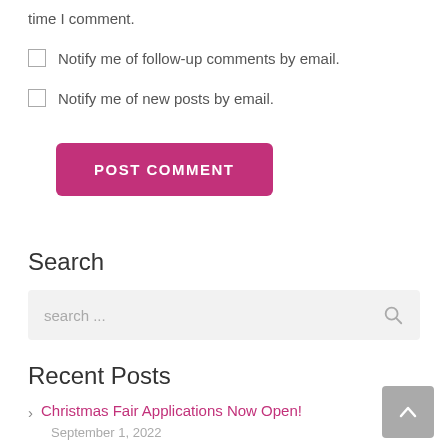time I comment.
Notify me of follow-up comments by email.
Notify me of new posts by email.
POST COMMENT
Search
search ...
Recent Posts
Christmas Fair Applications Now Open!
September 1, 2022